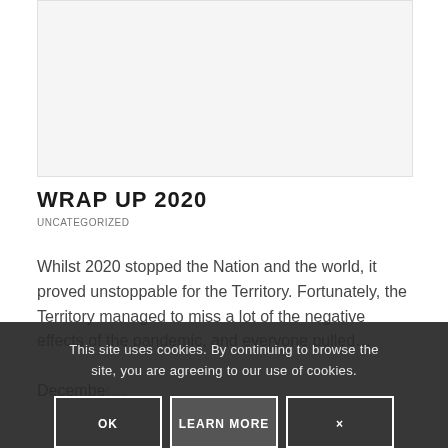[Figure (photo): Light gray placeholder/image area at the top of the page]
WRAP UP 2020
UNCATEGORIZED
Whilst 2020 stopped the Nation and the world, it proved unstoppable for the Territory. Fortunately, the Territory managed to miss a lot of the negative effects of the pandemic, and everyone pulled... December...
This site uses cookies. By continuing to browse the site, you are agreeing to our use of cookies. OK  LEARN MORE  ×